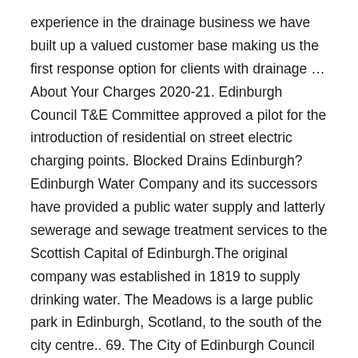experience in the drainage business we have built up a valued customer base making us the first response option for clients with drainage … About Your Charges 2020-21. Edinburgh Council T&E Committee approved a pilot for the introduction of residential on street electric charging points. Blocked Drains Edinburgh? Edinburgh Water Company and its successors have provided a public water supply and latterly sewerage and sewage treatment services to the Scottish Capital of Edinburgh.The original company was established in 1819 to supply drinking water. The Meadows is a large public park in Edinburgh, Scotland, to the south of the city centre.. 69. The City of Edinburgh Council wishes to appoint two suitably qualified and experienced contracting organisations to undertake Jetting, CCTV surveys and Drainage works to domestic properties. Drainage Edinburgh. In 2019 Atkins were commissioned by City of Edinburgh Council with funding from SUSTRANS to develop technical supplementary planning guidance on the design and implementation of sustainable drainage. Drainage Edinburgh. 24 Hour Blocked Drain Experts in